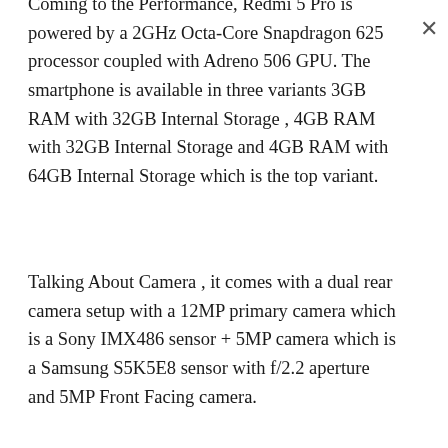Coming to the Performance, Redmi 5 Pro is powered by a 2GHz Octa-Core Snapdragon 625 processor coupled with Adreno 506 GPU. The smartphone is available in three variants 3GB RAM with 32GB Internal Storage , 4GB RAM with 32GB Internal Storage and 4GB RAM with 64GB Internal Storage which is the top variant.
Talking About Camera , it comes with a dual rear camera setup with a 12MP primary camera which is a Sony IMX486 sensor + 5MP camera which is a Samsung S5K5E8 sensor with f/2.2 aperture and 5MP Front Facing camera.